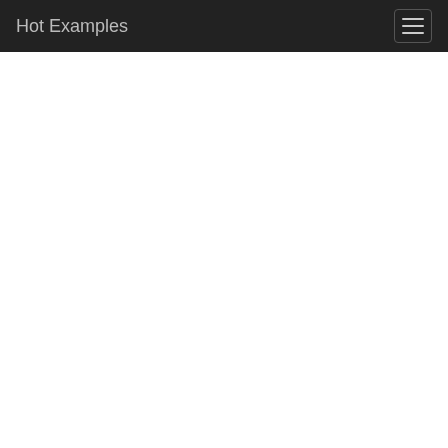Hot Examples
EXAMPLE #1
0
Show file